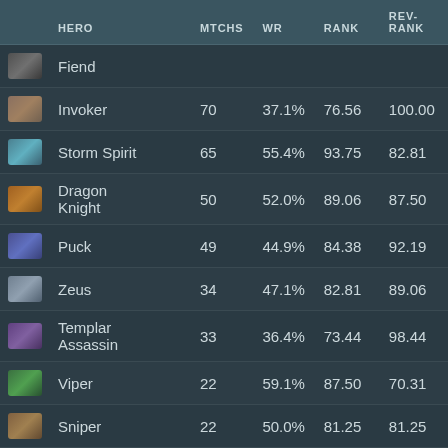|  | HERO | MTCHS | WR | RANK | REV-RANK |
| --- | --- | --- | --- | --- | --- |
| [icon] | Fiend |  |  |  |  |
| [icon] | Invoker | 70 | 37.1% | 76.56 | 100.00 |
| [icon] | Storm Spirit | 65 | 55.4% | 93.75 | 82.81 |
| [icon] | Dragon Knight | 50 | 52.0% | 89.06 | 87.50 |
| [icon] | Puck | 49 | 44.9% | 84.38 | 92.19 |
| [icon] | Zeus | 34 | 47.1% | 82.81 | 89.06 |
| [icon] | Templar Assassin | 33 | 36.4% | 73.44 | 98.44 |
| [icon] | Viper | 22 | 59.1% | 87.50 | 70.31 |
| [icon] | Sniper | 22 | 50.0% | 81.25 | 81.25 |
| [icon] | Bounty | 15 | ?? | 100.00 | ?? |